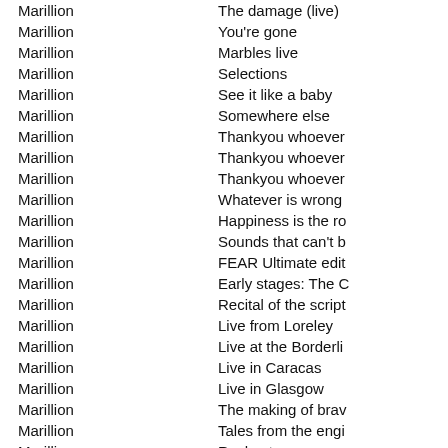| Artist | Album |
| --- | --- |
| Marillion | The damage (live) |
| Marillion | You're gone |
| Marillion | Marbles live |
| Marillion | Selections |
| Marillion | See it like a baby |
| Marillion | Somewhere else |
| Marillion | Thankyou whoever |
| Marillion | Thankyou whoever |
| Marillion | Thankyou whoever |
| Marillion | Whatever is wrong |
| Marillion | Happiness is the ro |
| Marillion | Sounds that can't b |
| Marillion | FEAR Ultimate edit |
| Marillion | Early stages: The C |
| Marillion | Recital of the script |
| Marillion | Live from Loreley |
| Marillion | Live at the Borderli |
| Marillion | Live in Caracas |
| Marillion | Live in Glasgow |
| Marillion | The making of brav |
| Marillion | Tales from the engi |
| Marillion | Rochester |
| Marillion | Piston Broke |
| Marillion | Christmas 1998 |
| Marillion | Unplugged at the w |
| Marillion | Zodiac |
| Marillion | Marillion.christmas |